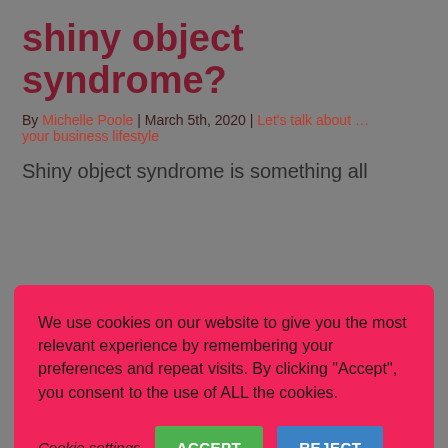shiny object syndrome?
By Michelle Poole | March 5th, 2020 | Let's talk about ... your business lifestyle
Shiny object syndrome is something all
We use cookies on our website to give you the most relevant experience by remembering your preferences and repeat visits. By clicking “Accept”, you consent to the use of ALL the cookies.
Cookie settings  ACCEPT  REJECT